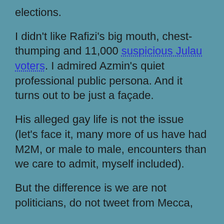elections.
I didn't like Rafizi's big mouth, chest-thumping and 11,000 suspicious Julau voters. I admired Azmin's quiet professional public persona. And it turns out to be just a façade.
His alleged gay life is not the issue (let's face it, many more of us have had M2M, or male to male, encounters than we care to admit, myself included).
But the difference is we are not politicians, do not tweet from Mecca,